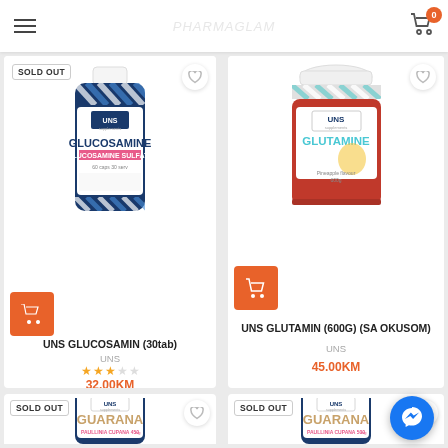Navigation bar with hamburger menu, logo watermark, and cart icon with badge 0
[Figure (photo): UNS Glucosamine supplement bottle, blue cylindrical container with white cap, marked 60 servings / 30 tabs, SOLD OUT badge]
UNS GLUCOSAMIN (30tab)
UNS
★★★☆☆
32.00KM
[Figure (photo): UNS Glutamine supplement jar, red wide container with blue top stripe, pineapple flavor, 600g]
UNS GLUTAMIN (600G) (SA OKUSOM)
UNS
45.00KM
[Figure (photo): UNS Guarana Paullinia Cupana 450mg supplement bottle, blue cylindrical container, SOLD OUT badge]
[Figure (photo): UNS Guarana Paullinia Cupana 500mg supplement bottle, blue cylindrical container, SOLD OUT badge]